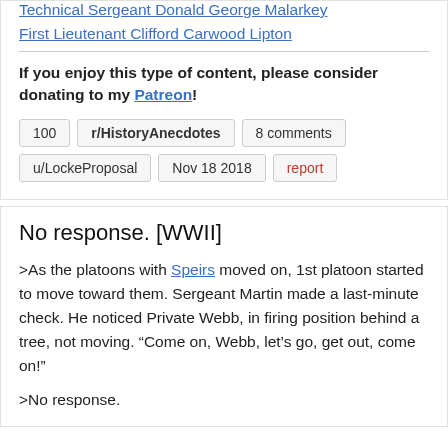Technical Sergeant Donald George Malarkey
First Lieutenant Clifford Carwood Lipton
If you enjoy this type of content, please consider donating to my Patreon!
100   r/HistoryAnecdotes   8 comments
u/LockeProposal   Nov 18 2018   report
No response. [WWII]
>As the platoons with Speirs moved on, 1st platoon started to move toward them. Sergeant Martin made a last-minute check. He noticed Private Webb, in firing position behind a tree, not moving. “Come on, Webb, let’s go, get out, come on!”
>No response.